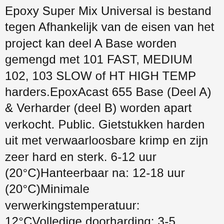Epoxy Super Mix Universal is bestand tegen Afhankelijk van de eisen van het project kan deel A Base worden gemengd met 101 FAST, MEDIUM 102, 103 SLOW of HT HIGH TEMP harders.EpoxAcast 655 Base (Deel A) & Verharder (deel B) worden apart verkocht. Public. Gietstukken harden uit met verwaarloosbare krimp en zijn zeer hard en sterk. 6-12 uur (20°C)Hanteerbaar na: 12-18 uur (20°C)Minimale verwerkingstemperatuur: 12°CVolledige doorharding: 3-5 dagenHoudbaarheid: 1 jaar (bij 15-20 graden en donker bewaard). Wil je meer informatie ontvangen, of heb je een vraag over één van onze Resion producten? Servicing Houston and Surrounding Areas. A versatile 2-to-1 compound, our General Purpose Epoxy bonds exceedingly well with wood, metal, fiber and fiberglass, providing a smooth, glassy finish. Voor de jerrycans (vanaf 8 kg sets) hebben we ook handige tapkraantjes. They contain 316 stainless steel flakes, which provide durability and superior corrosion resistance. U kunt kiezen uit 101 FAST, MEDIUM 102, 103 SLOW of HT.Verharder. EpoxAcast® 650 is a